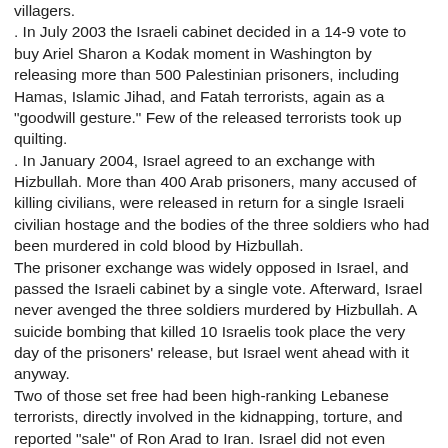villagers.
. In July 2003 the Israeli cabinet decided in a 14-9 vote to buy Ariel Sharon a Kodak moment in Washington by releasing more than 500 Palestinian prisoners, including Hamas, Islamic Jihad, and Fatah terrorists, again as a "goodwill gesture." Few of the released terrorists took up quilting.
. In January 2004, Israel agreed to an exchange with Hizbullah. More than 400 Arab prisoners, many accused of killing civilians, were released in return for a single Israeli civilian hostage and the bodies of the three soldiers who had been murdered in cold blood by Hizbullah.
The prisoner exchange was widely opposed in Israel, and passed the Israeli cabinet by a single vote. Afterward, Israel never avenged the three soldiers murdered by Hizbullah. A suicide bombing that killed 10 Israelis took place the very day of the prisoners' release, but Israel went ahead with it anyway.
Two of those set free had been high-ranking Lebanese terrorists, directly involved in the kidnapping, torture, and reported "sale" of Ron Arad to Iran. Israel did not even demand information on the whereabouts of Arad in exchange, but got a promise of information in the